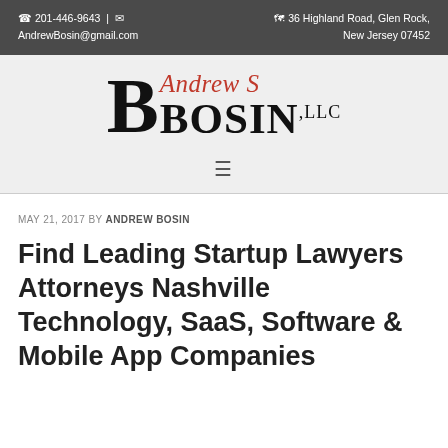☎ 201-446-9643 | ✉ AndrewBosin@gmail.com  🗺 36 Highland Road, Glen Rock, New Jersey 07452
[Figure (logo): Andrew S Bosin LLC logo — large stylized B in black serif font with 'Andrew S' in red italic and 'BOSIN,LLC' in bold black serif]
≡ (hamburger menu icon)
MAY 21, 2017 BY ANDREW BOSIN
Find Leading Startup Lawyers Attorneys Nashville Technology, SaaS, Software & Mobile App Companies